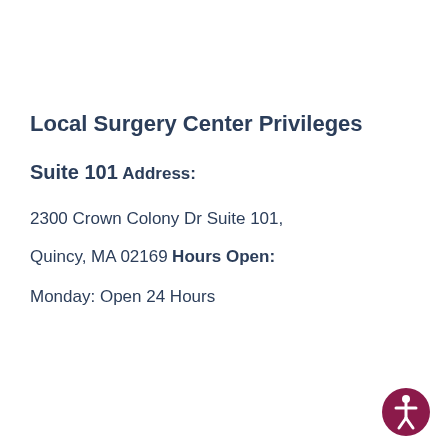Local Surgery Center Privileges
Suite 101
Address:
2300 Crown Colony Dr Suite 101,
Quincy, MA 02169
Hours Open:
Monday: Open 24 Hours
[Figure (logo): Accessibility icon — white person figure on dark red/maroon circular background]